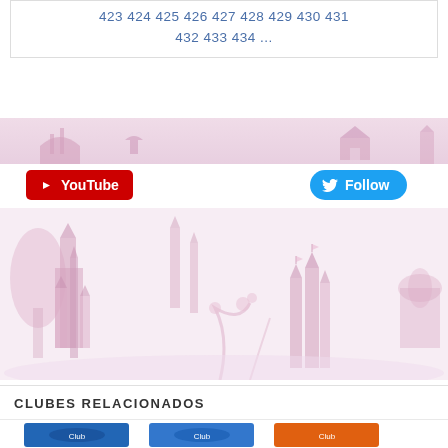423 424 425 426 427 428 429 430 431 432 433 434 ...
[Figure (illustration): Decorative bar with pink Disney-style silhouettes of castles, trees, and characters on a light pink gradient background]
[Figure (other): Red YouTube button with play icon and white text 'YouTube']
[Figure (other): Blue Twitter Follow button with bird icon and white text 'Follow']
[Figure (illustration): Disney Princess castle silhouette background image in pink tones showing fairy tale castles, trees, and floral decorations on a pale pink background]
CLUBES RELACIONADOS
[Figure (illustration): Bottom strip showing three club icon thumbnails: two blue and one orange/multicolor]